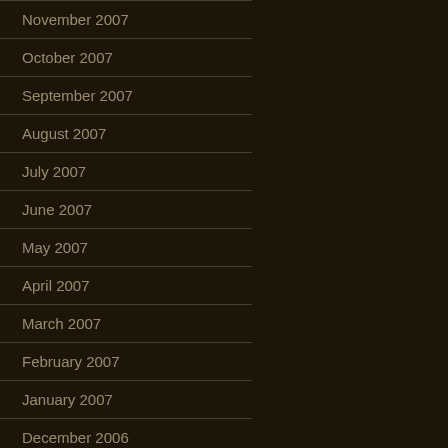November 2007
October 2007
September 2007
August 2007
July 2007
June 2007
May 2007
April 2007
March 2007
February 2007
January 2007
December 2006
November 2006
October 2006
September 2006
August 2006
July 2006